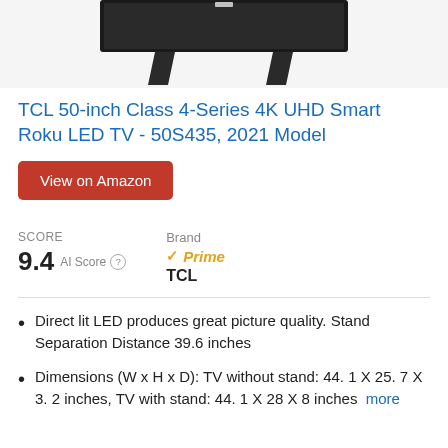[Figure (photo): TCL 50-inch LED TV product image showing front view with stand legs]
TCL 50-inch Class 4-Series 4K UHD Smart Roku LED TV - 50S435, 2021 Model
View on Amazon
| SCORE | Brand |  |
| --- | --- | --- |
| 9.4  AI Score | TCL | ✓Prime |
Direct lit LED produces great picture quality. Stand Separation Distance 39.6 inches
Dimensions (W x H x D): TV without stand: 44. 1 X 25. 7 X 3. 2 inches, TV with stand: 44. 1 X 28 X 8 inches  more